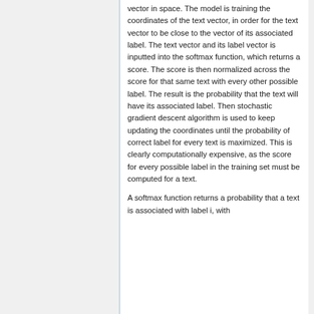vector in space. The model is training the coordinates of the text vector, in order for the text vector to be close to the vector of its associated label. The text vector and its label vector is inputted into the softmax function, which returns a score. The score is then normalized across the score for that same text with every other possible label. The result is the probability that the text will have its associated label. Then stochastic gradient descent algorithm is used to keep updating the coordinates until the probability of correct label for every text is maximized. This is clearly computationally expensive, as the score for every possible label in the training set must be computed for a text.
A softmax function returns a probability that a text is associated with label i, with